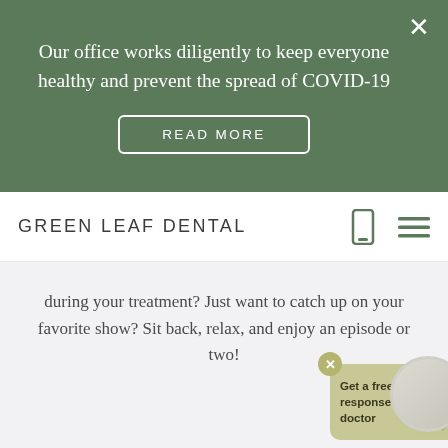Our office works diligently to keep everyone healthy and prevent the spread of COVID-19
READ MORE
GREEN LEAF DENTAL
during your treatment? Just want to catch up on your favorite show? Sit back, relax, and enjoy an episode or two!
Get a free video response from the doctor